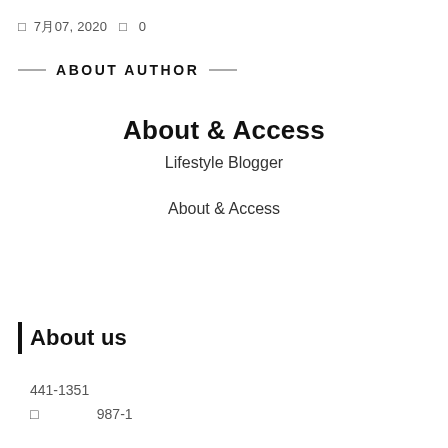□  7月07, 2020  □  0
ABOUT AUTHOR
About & Access
Lifestyle Blogger
About & Access
About us
441-1351
□                987-1